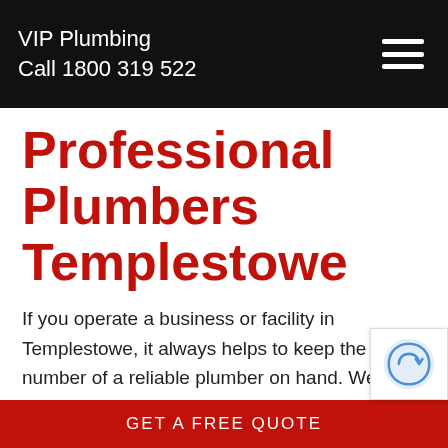VIP Plumbing
Call 1800 319 522
Professional Plumbers Templestowe
If you operate a business or facility in Templestowe, it always helps to keep the number of a reliable plumber on hand. We are among local commercial plumbers who keep a wealth of different trade experiences. This is a common consideration especially among business owners needing local plumbers for emergency plumb
GET A FREE QUOTE